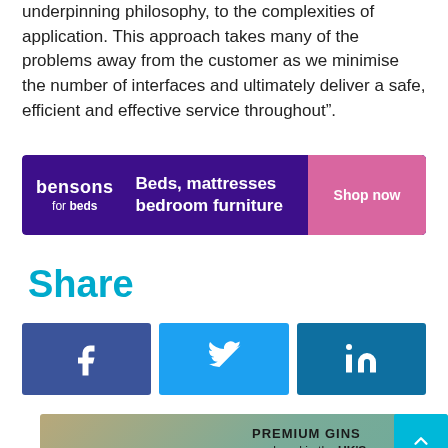underpinning philosophy, to the complexities of application. This approach takes many of the problems away from the customer as we minimise the number of interfaces and ultimately deliver a safe, efficient and effective service throughout”.
[Figure (advertisement): Bensons for Beds advertisement banner with purple background, text 'Beds, mattresses bedroom furniture' and pink 'Shop now' button]
Share
[Figure (infographic): Three social media share buttons: Facebook (dark blue), Twitter (light blue), LinkedIn (dark cyan)]
[Figure (advertisement): Premium Gins advertisement: 'The Adventure Begins Here' on left, 'PREMIUM GINS produced in the UK'S MOST NORTHERNLY DISTILLERY. NOW available throughout the UK For more info' on right, with scroll-to-top button]